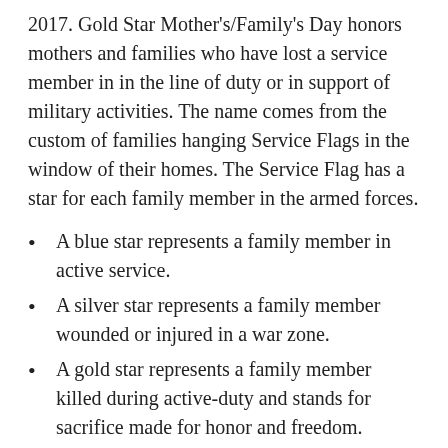2017. Gold Star Mother's/Family's Day honors mothers and families who have lost a service member in in the line of duty or in support of military activities. The name comes from the custom of families hanging Service Flags in the window of their homes. The Service Flag has a star for each family member in the armed forces.
A blue star represents a family member in active service.
A silver star represents a family member wounded or injured in a war zone.
A gold star represents a family member killed during active-duty and stands for sacrifice made for honor and freedom.
The American Gold Star Mothers, Inc. was founded shortly after World War 1 by Grace Darling Seibold, who lost her son, George Vaughn Seibold, during the war.